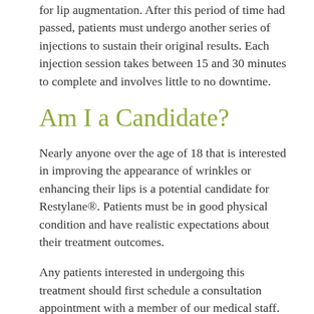for lip augmentation. After this period of time had passed, patients must undergo another series of injections to sustain their original results. Each injection session takes between 15 and 30 minutes to complete and involves little to no downtime.
Am I a Candidate?
Nearly anyone over the age of 18 that is interested in improving the appearance of wrinkles or enhancing their lips is a potential candidate for Restylane®. Patients must be in good physical condition and have realistic expectations about their treatment outcomes.
Any patients interested in undergoing this treatment should first schedule a consultation appointment with a member of our medical staff. During this appointment, the patient will be asked about her or his aesthetic goals, current state of health, and medical history. Using this information, a member of our